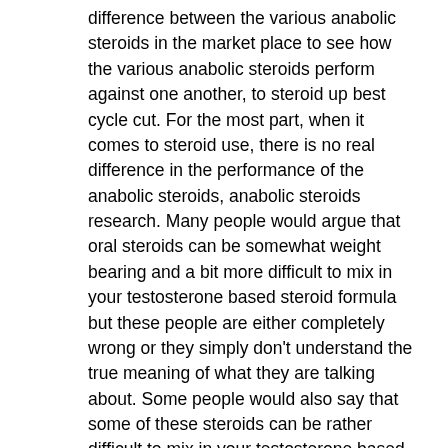difference between the various anabolic steroids in the market place to see how the various anabolic steroids perform against one another, to steroid up best cycle cut. For the most part, when it comes to steroid use, there is no real difference in the performance of the anabolic steroids, anabolic steroids research. Many people would argue that oral steroids can be somewhat weight bearing and a bit more difficult to mix in your testosterone based steroid formula but these people are either completely wrong or they simply don't understand the true meaning of what they are talking about. Some people would also say that some of these steroids can be rather difficult to mix in your testosterone based steroid formula but you really shouldn't put more than one steroid per week into your system without giving it some time to see the effects and your system will adjust.